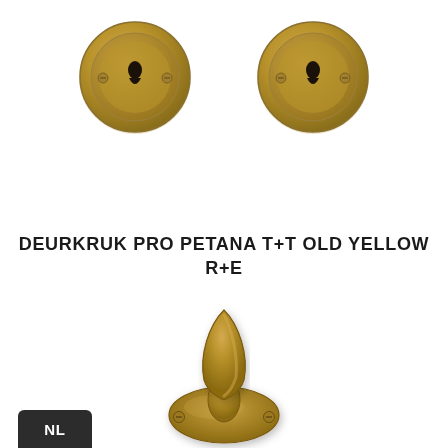[Figure (photo): Two antique brass/old yellow round escutcheon rosettes with keyhole openings, shown side by side on white background]
DEURKRUK PRO PETANA T+T OLD YELLOW R+E
[Figure (photo): Antique brass/old yellow door handle with leaf-shaped grip on a rose plate, viewed from above, partially visible]
NL